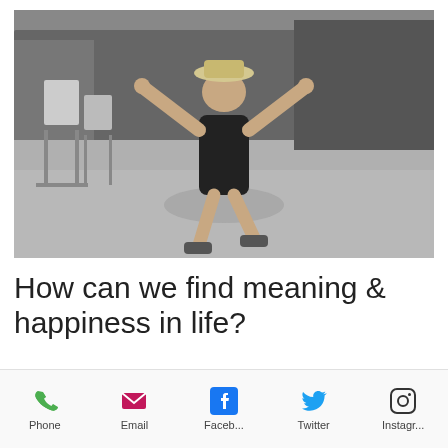[Figure (photo): Black and white photo of a child jumping with arms raised, wearing a hat and sandals, outdoors with signs and trees in background]
How can we find meaning & happiness in life?
Where do people tend to search for meaning, significance and happiness in
Phone | Email | Faceb... | Twitter | Instagr...